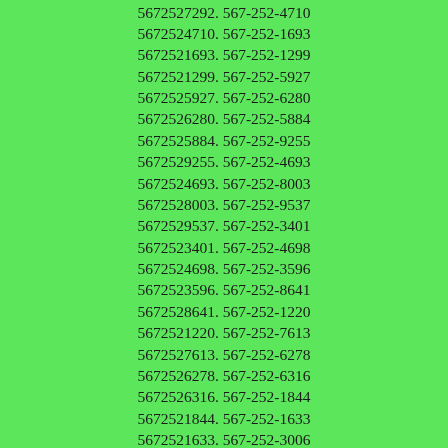5672521676. 567-252-6844
5672526844. 567-252-7292
5672527292. 567-252-4710
5672524710. 567-252-1693
5672521693. 567-252-1299
5672521299. 567-252-5927
5672525927. 567-252-6280
5672526280. 567-252-5884
5672525884. 567-252-9255
5672529255. 567-252-4693
5672524693. 567-252-8003
5672528003. 567-252-9537
5672529537. 567-252-3401
5672523401. 567-252-4698
5672524698. 567-252-3596
5672523596. 567-252-8641
5672528641. 567-252-1220
5672521220. 567-252-7613
5672527613. 567-252-6278
5672526278. 567-252-6316
5672526316. 567-252-1844
5672521844. 567-252-1633
5672521633. 567-252-3006
5672523006. 567-252-6803
5672526803. 567-252-8822